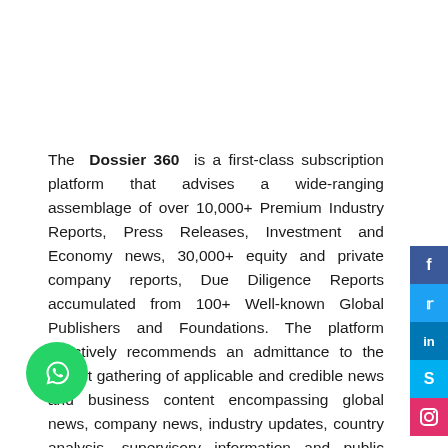The Dossier 360 is a first-class subscription platform that advises a wide-ranging assemblage of over 10,000+ Premium Industry Reports, Press Releases, Investment and Economy news, 30,000+ equity and private company reports, Due Diligence Reports accumulated from 100+ Well-known Global Publishers and Foundations. The platform effectively recommends an admittance to the widest gathering of applicable and credible news and business content encompassing global news, company news, industry updates, country analysis, supervisory information and public chronicles. Nonetheless, the Dossier360 conciliations a structured and intuitive interface which makes it easy for the user to admission the subscription platform.